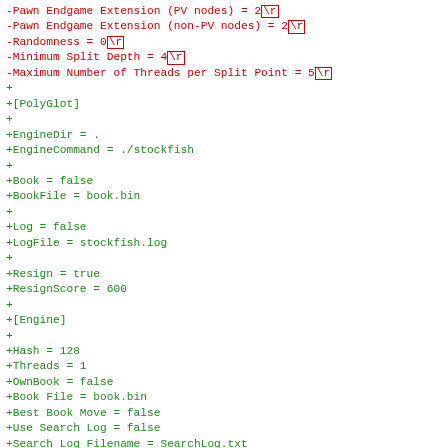-Pawn Endgame Extension (PV nodes) = 2 \r
-Pawn Endgame Extension (non-PV nodes) = 2 \r
-Randomness = 0 \r
-Minimum Split Depth = 4 \r
-Maximum Number of Threads per Split Point = 5 \r
+
+[PolyGlot]
+
+EngineDir = .
+EngineCommand = ./stockfish
+
+Book = false
+BookFile = book.bin
+
+Log = false
+LogFile = stockfish.log
+
+Resign = true
+ResignScore = 600
+
+[Engine]
+
+Hash = 128
+Threads = 1
+OwnBook = false
+Book File = book.bin
+Best Book Move = false
+Use Search Log = false
+Search Log Filename = SearchLog.txt
+Mobility (Middle Game) = 100
+Mobility (Endgame) = 100
+Pawn Structure (Middle Game) = 100
+Pawn Structure (Endgame) = 100